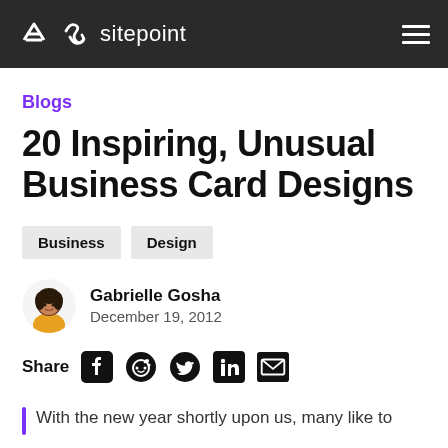sitepoint
Blogs
20 Inspiring, Unusual Business Card Designs
Business
Design
Gabrielle Gosha
December 19, 2012
Share
With the new year shortly upon us, many like to